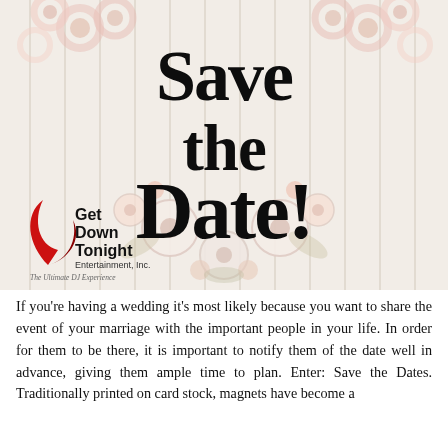[Figure (illustration): Save the Date decorative banner with floral wreath (pink and white flowers) on a white wood plank background, with cursive black text reading 'Save the Date!' and the Get Down Tonight Entertainment, Inc. logo with tagline 'The Ultimate DJ Experience']
If you're having a wedding it's most likely because you want to share the event of your marriage with the important people in your life. In order for them to be there, it is important to notify them of the date well in advance, giving them ample time to plan. Enter: Save the Dates. Traditionally printed on card stock, magnets have become a